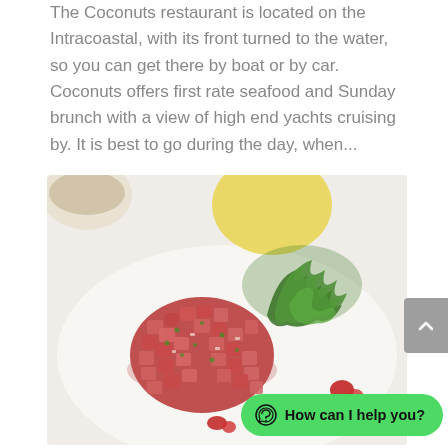The Coconuts restaurant is located on the Intracoastal, with its front turned to the water, so you can get there by boat or by car. Coconuts offers first rate seafood and Sunday brunch with a view of high end yachts cruising by. It is best to go during the day, when...
[Figure (photo): A plate with a mound of diced tuna tartare with herbs, accompanied by fresh arugula salad, a lemon in background, and small pieces of red pepper garnish on a white plate.]